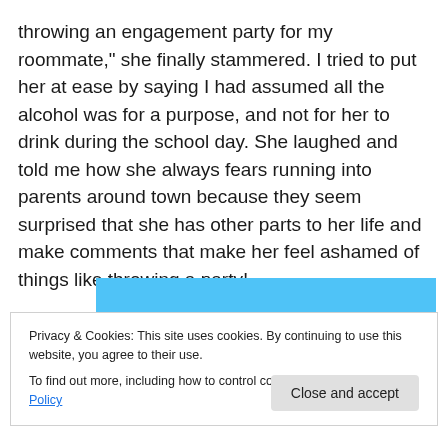throwing an engagement party for my roommate," she finally stammered.  I tried to put her at ease by saying I had assumed all the alcohol was for a purpose, and not for her to drink during the school day.  She laughed and told me how she always fears running into parents around town because they seem surprised that she has other parts to her life and make comments that make her feel ashamed of things like throwing a party!
[Figure (screenshot): Blue advertisement banner with white italic text reading 'The only journaling app you'll ever need.' with decorative dots/sparkles.]
Privacy & Cookies: This site uses cookies. By continuing to use this website, you agree to their use.
To find out more, including how to control cookies, see here: Cookie Policy